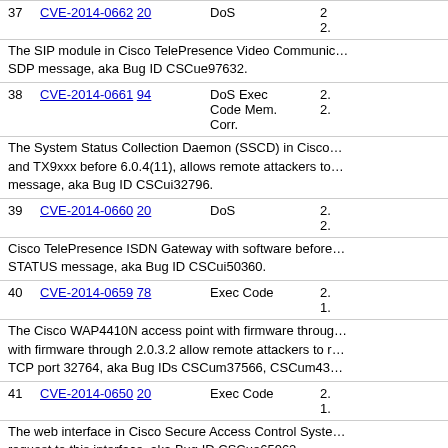| # | CVE | Type | Score |
| --- | --- | --- | --- |
| 37 | CVE-2014-0662 20 | DoS | 2... |
|  | description: The SIP module in Cisco TelePresence Video Communic... SDP message, aka Bug ID CSCue97632. |  |  |
| 38 | CVE-2014-0661 94 | DoS Exec Code Mem. Corr. | 2... 2... |
|  | description: The System Status Collection Daemon (SSCD) in Cisco... and TX9xxx before 6.0.4(11), allows remote attackers to... message, aka Bug ID CSCui32796. |  |  |
| 39 | CVE-2014-0660 20 | DoS | 2... 2... |
|  | description: Cisco TelePresence ISDN Gateway with software before... STATUS message, aka Bug ID CSCui50360. |  |  |
| 40 | CVE-2014-0659 78 | Exec Code | 2... 1... |
|  | description: The Cisco WAP4410N access point with firmware throug... with firmware through 2.0.3.2 allow remote attackers to r... TCP port 32764, aka Bug IDs CSCum37566, CSCum43... |  |  |
| 41 | CVE-2014-0650 20 | Exec Code | 2... 1... |
|  | description: The web interface in Cisco Secure Access Control Syste... request to this interface, aka Bug ID CSCue65962. |  |  |
| 42 | CVE-2014-0649 264 |  | 2... |